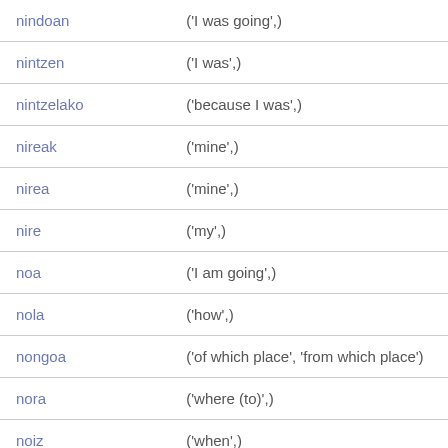| nindoan | ('I was going',) |
| nintzen | ('I was',) |
| nintzelako | ('because I was',) |
| nireak | ('mine',) |
| nirea | ('mine',) |
| nire | ('my',) |
| noa | ('I am going',) |
| nola | ('how',) |
| nongoa | ('of which place', 'from which place') |
| nora | ('where (to)',) |
| noiz | ('when',) |